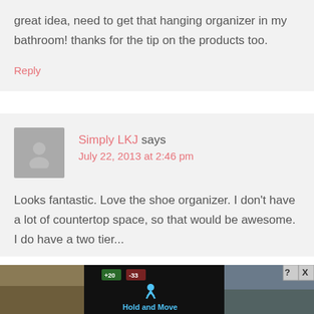great idea, need to get that hanging organizer in my bathroom! thanks for the tip on the products too.
Reply
Simply LKJ says July 22, 2013 at 2:46 pm
Looks fantastic. Love the shoe organizer. I don't have a lot of countertop space, so that would be awesome. I do have a two tier...
[Figure (infographic): Advertisement banner with game/app ad showing 'Hold and Move' text with score indicators and outdoor photo background]